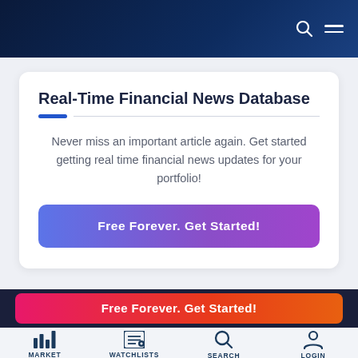Real-Time Financial News Database
Never miss an important article again. Get started getting real time financial news updates for your portfolio!
Free Forever. Get Started!
Free Forever. Get Started!
MARKET   WATCHLISTS   SEARCH   LOGIN